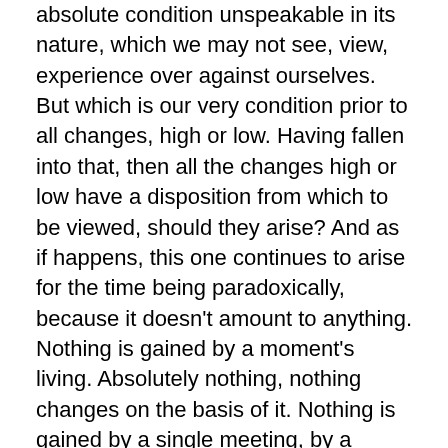absolute condition unspeakable in its nature, which we may not see, view, experience over against ourselves. But which is our very condition prior to all changes, high or low. Having fallen into that, then all the changes high or low have a disposition from which to be viewed, should they arise? And as if happens, this one continues to arise for the time being paradoxically, because it doesn't amount to anything. Nothing is gained by a moment's living. Absolutely nothing, nothing changes on the basis of it. Nothing is gained by a single meeting, by a single moments satisfaction, by a single contact. It isn't anything. It is only an illusion, a modification of the essential condition. You come to rest in that condition. Then in every moment you recognize this and are happy, already happy. Because you can play in the ordinary way and on the other hand, you never become wretched or not degraded through your own craving. Cause you recognize what you love. Therefore your relations with your lovers with this whole world, your relations are natural. Happy. Otherwise